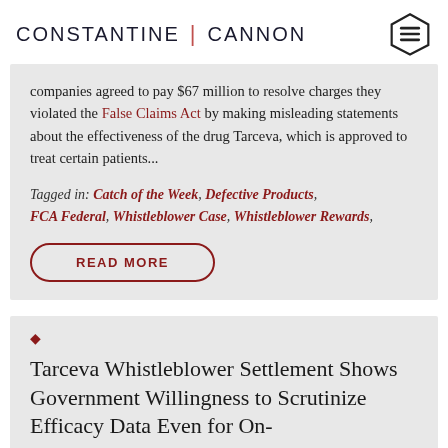CONSTANTINE | CANNON
companies agreed to pay $67 million to resolve charges they violated the False Claims Act by making misleading statements about the effectiveness of the drug Tarceva, which is approved to treat certain patients...
Tagged in: Catch of the Week, Defective Products, FCA Federal, Whistleblower Case, Whistleblower Rewards,
READ MORE
Tarceva Whistleblower Settlement Shows Government Willingness to Scrutinize Efficacy Data Even for On-